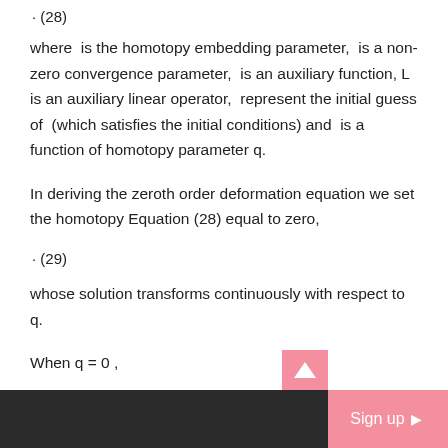where is the homotopy embedding parameter, is a non-zero convergence parameter, is an auxiliary function, L is an auxiliary linear operator, represent the initial guess of (which satisfies the initial conditions) and is a function of homotopy parameter q.
In deriving the zeroth order deformation equation we set the homotopy Equation (28) equal to zero,
whose solution transforms continuously with respect to q.
When q = 0 ,
Sign up